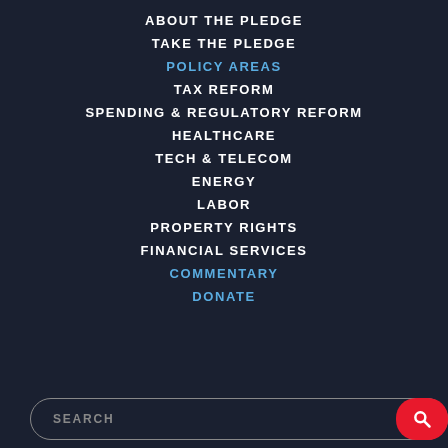ABOUT THE PLEDGE
TAKE THE PLEDGE
POLICY AREAS
TAX REFORM
SPENDING & REGULATORY REFORM
HEALTHCARE
TECH & TELECOM
ENERGY
LABOR
PROPERTY RIGHTS
FINANCIAL SERVICES
COMMENTARY
DONATE
SEARCH